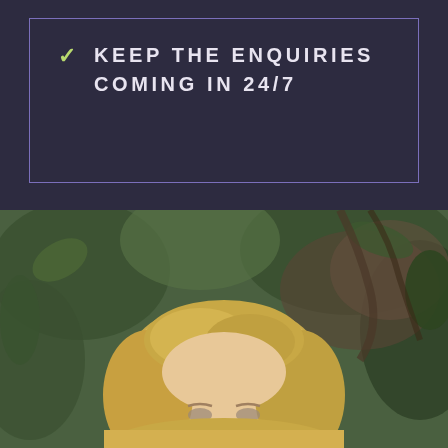KEEP THE ENQUIRIES COMING IN 24/7
[Figure (photo): Portrait photo of a blonde woman with green leafy background, photographed outdoors]